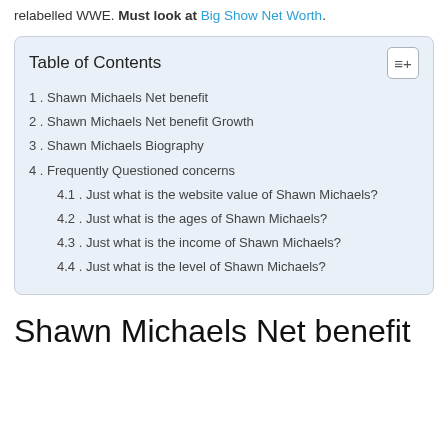relabelled WWE. Must look at Big Show Net Worth.
| 1. Shawn Michaels Net benefit |
| 2. Shawn Michaels Net benefit Growth |
| 3. Shawn Michaels Biography |
| 4. Frequently Questioned concerns |
| 4.1. Just what is the website value of Shawn Michaels? |
| 4.2. Just what is the ages of Shawn Michaels? |
| 4.3. Just what is the income of Shawn Michaels? |
| 4.4. Just what is the level of Shawn Michaels? |
Shawn Michaels Net benefit